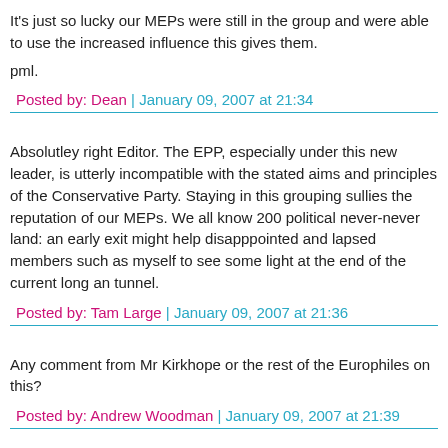It's just so lucky our MEPs were still in the group and were able to use the increased influence this gives them.
pml.
Posted by: Dean | January 09, 2007 at 21:34
Absolutley right Editor. The EPP, especially under this new leader, is utterly incompatible with the stated aims and principles of the Conservative Party. Staying in this grouping sullies the reputation of our MEPs. We all know 200 political never-never land: an early exit might help disapppointed and lapsed members such as myself to see some light at the end of the current long an tunnel.
Posted by: Tam Large | January 09, 2007 at 21:36
Any comment from Mr Kirkhope or the rest of the Europhiles on this?
Posted by: Andrew Woodman | January 09, 2007 at 21:39
Out with the old, in the... old. Oh.